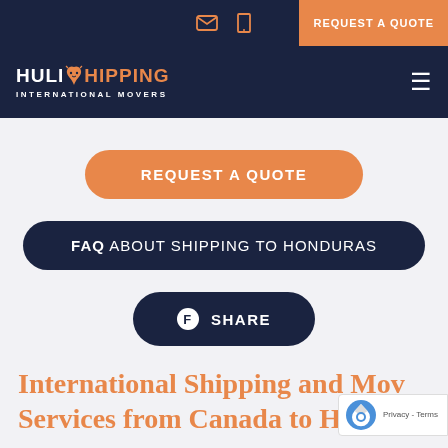REQUEST A QUOTE
[Figure (logo): Huli Shipping International Movers logo with cat icon]
REQUEST A QUOTE
FAQ ABOUT SHIPPING TO HONDURAS
SHARE
International Shipping and Moving Services from Canada to Honduras